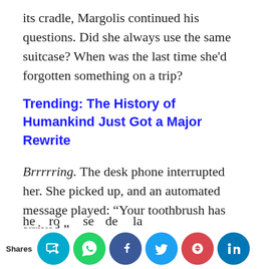its cradle, Margolis continued his questions. Did she always use the same suitcase? When was the last time she’d forgotten something on a trip?
Trending: The History of Humankind Just Got a Major Rewrite
Brrring. The desk phone interrupted her. She picked up, and an automated message played: “Your toothbrush has arrived.”
Without thinking, the woman crossed the room, turned the handle, and opened the door. Back at headquarters, the sprint team members were he[...]ro[...]se[...]de[...]la[...] watching her reaction.
[Figure (infographic): Social sharing bar at bottom with icons: Shares label, then circular buttons for an app (teal), WhatsApp (green), Facebook (dark blue), Twitter (blue), Pocket (red/pink), LinkedIn (blue)]